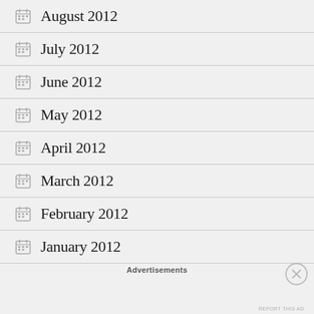August 2012
July 2012
June 2012
May 2012
April 2012
March 2012
February 2012
January 2012
Advertisements
REPORT THIS AD